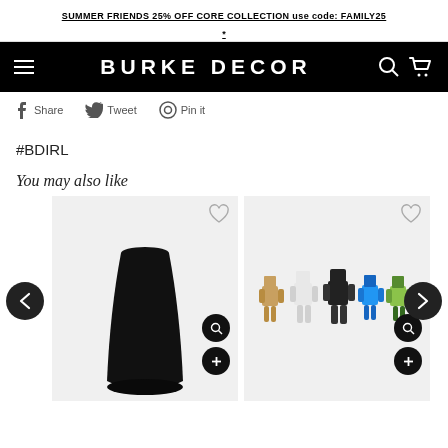SUMMER FRIENDS 25% OFF CORE COLLECTION use code: FAMILY25 *
BURKE DECOR
Share  Tweet  Pin it
#BDIRL
You may also like
[Figure (photo): Black cylindrical vase product photo on light background]
[Figure (photo): Colorful wooden robot/figure toys product photo on light background]